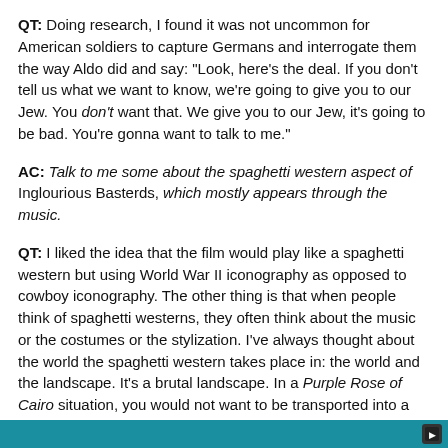QT: Doing research, I found it was not uncommon for American soldiers to capture Germans and interrogate them the way Aldo did and say: "Look, here's the deal. If you don't tell us what we want to know, we're going to give you to our Jew. You don't want that. We give you to our Jew, it's going to be bad. You're gonna want to talk to me."
AC: Talk to me some about the spaghetti western aspect of Inglourious Basterds, which mostly appears through the music.
QT: I liked the idea that the film would play like a spaghetti western but using World War II iconography as opposed to cowboy iconography. The other thing is that when people think of spaghetti westerns, they often think about the music or the costumes or the stylization. I've always thought about the world the spaghetti western takes place in: the world and the landscape. It's a brutal landscape. In a Purple Rose of Cairo situation, you would not want to be transported into a spaghetti western. Life is cheap; death is just around the corner; it's boom, and you're dead. And the banditos laugh as they do it. That's a pretty good approximation of what life was like in Europe under the occupation. Boom and you're dead in the ditch.